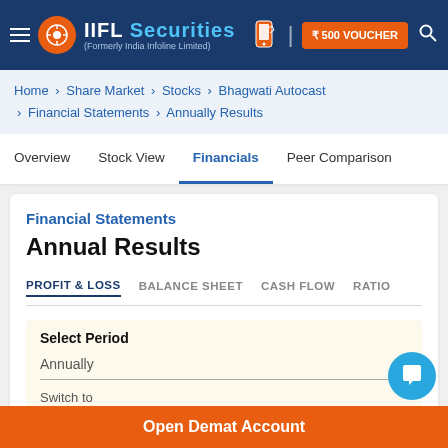IIFL Securities (Formerly India Infoline Limited) — ₹500 VOUCHER
Home > Share Market > Stocks > Bhagwati Autocast > Financial Statements > Annually Results
Overview | Stock View | Financials | Peer Comparison
Financial Statements
Annual Results
PROFIT & LOSS   BALANCE SHEET   CASH FLOW   RATIO
Select Period
Annually
Switch to
Open Demat Account